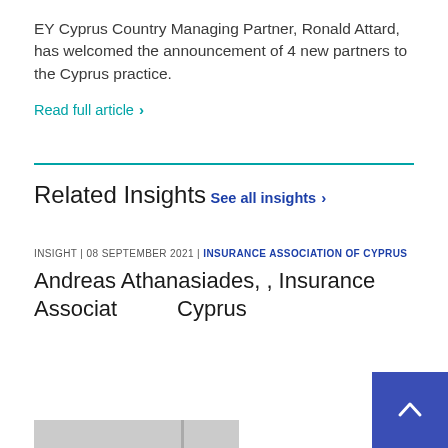EY Cyprus Country Managing Partner, Ronald Attard, has welcomed the announcement of 4 new partners to the Cyprus practice.
Read full article ›
Related Insights
See all insights ›
INSIGHT | 08 SEPTEMBER 2021 | INSURANCE ASSOCIATION OF CYPRUS
Andreas Athanasiades, , Insurance Association of Cyprus